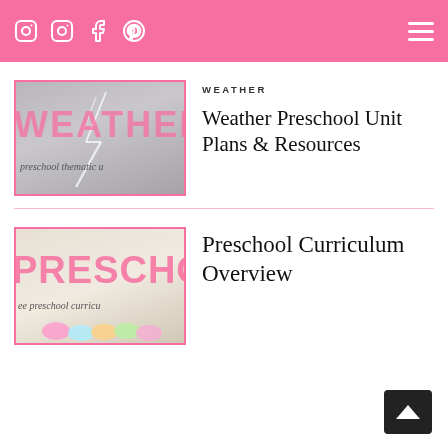Navigation header with social icons (Instagram, Instagram, Facebook, Pinterest) and hamburger menu
WEATHER
Weather Preschool Unit Plans & Resources
[Figure (photo): Weather preschool thematic unit thumbnail with pink WEATHER text overlay and lightning bolt background]
Preschool Curriculum Overview
[Figure (photo): Preschool curriculum thumbnail with pink PRESCHOOL text overlay and colorful crayons]
Preschool Curriculum Overview